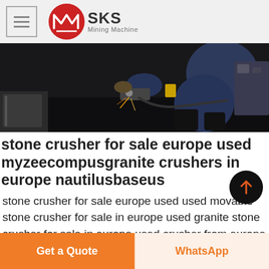SKS Mining Machine
[Figure (photo): Industrial worker crouching and working with heavy metallic machinery, dark workshop setting with sparks]
stone crusher for sale europe used myzeecompusgranite crushers in europe nautilusbaseus
stone crusher for sale europe used used movable stone crusher for sale in europe used granite stone crusher for sale in europe used crusher from europe Granite Crusher In Europe Used granite crusher for sale Used Granite
Get a Quote   WhatsApp